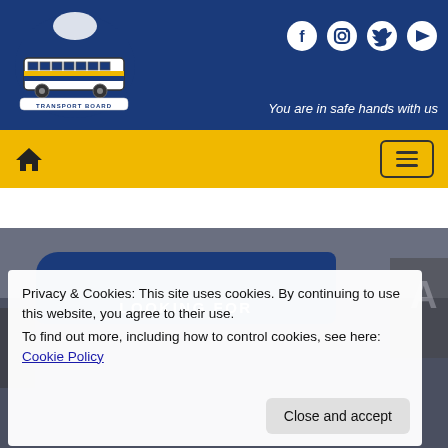[Figure (logo): Transport Board logo with bus illustration, Barbados map, and text 'TRANSPORT BOARD']
[Figure (infographic): Social media icons: Facebook, Instagram, Twitter, YouTube in white on blue background]
You are in safe hands with us
[Figure (infographic): Navigation bar with home icon and hamburger menu button on yellow background]
[Figure (screenshot): Website screenshot showing a partial bus station background image with a blue 'LOOKING FOR' card overlay]
Privacy & Cookies: This site uses cookies. By continuing to use this website, you agree to their use.
To find out more, including how to control cookies, see here: Cookie Policy
Close and accept